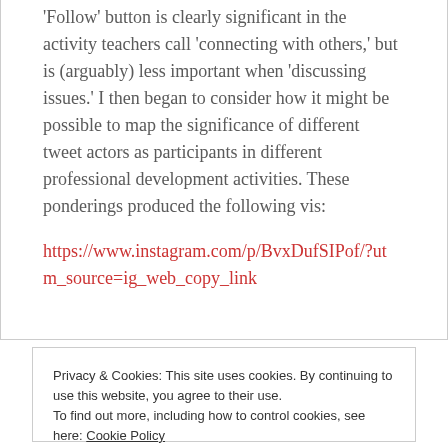'Follow' button is clearly significant in the activity teachers call 'connecting with others,' but is (arguably) less important when 'discussing issues.' I then began to consider how it might be possible to map the significance of different tweet actors as participants in different professional development activities. These ponderings produced the following vis:
https://www.instagram.com/p/BvxDufSIPof/?utm_source=ig_web_copy_link
Privacy & Cookies: This site uses cookies. By continuing to use this website, you agree to their use. To find out more, including how to control cookies, see here: Cookie Policy
Close and accept